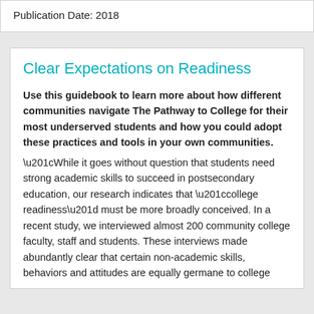Publication Date: 2018
Clear Expectations on Readiness
Use this guidebook to learn more about how different communities navigate The Pathway to College for their most underserved students and how you could adopt these practices and tools in your own communities.
“While it goes without question that students need strong academic skills to succeed in postsecondary education, our research indicates that “college readiness” must be more broadly conceived. In a recent study, we interviewed almost 200 community college faculty, staff and students. These interviews made abundantly clear that certain non-academic skills, behaviors and attitudes are equally germane to college